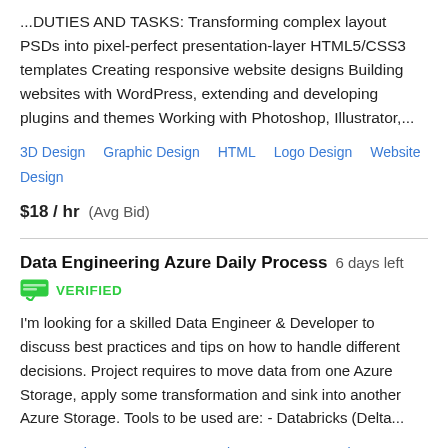...DUTIES AND TASKS: Transforming complex layout PSDs into pixel-perfect presentation-layer HTML5/CSS3 templates Creating responsive website designs Building websites with WordPress, extending and developing plugins and themes Working with Photoshop, Illustrator,...
3D Design   Graphic Design   HTML   Logo Design   Website Design
$18 / hr   (Avg Bid)
Data Engineering Azure Daily Process   6 days left
VERIFIED
I'm looking for a skilled Data Engineer & Developer to discuss best practices and tips on how to handle different decisions. Project requires to move data from one Azure Storage, apply some transformation and sink into another Azure Storage. Tools to be used are: - Databricks (Delta...
Azure   Big Data   Data Integration   Data Processing   SQL